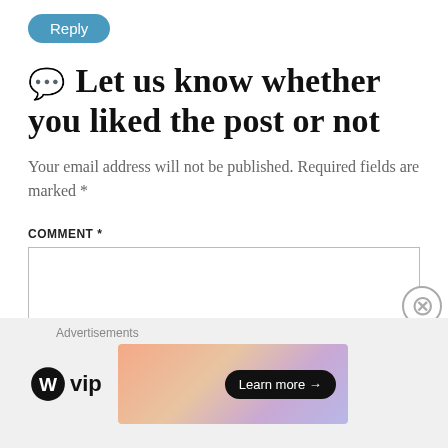Reply
💬 Let us know whether you liked the post or not
Your email address will not be published. Required fields are marked *
COMMENT *
[Figure (screenshot): Empty comment text area input box]
[Figure (infographic): Advertisement bar with WordPress VIP logo and Learn more button on gradient banner]
Advertisements